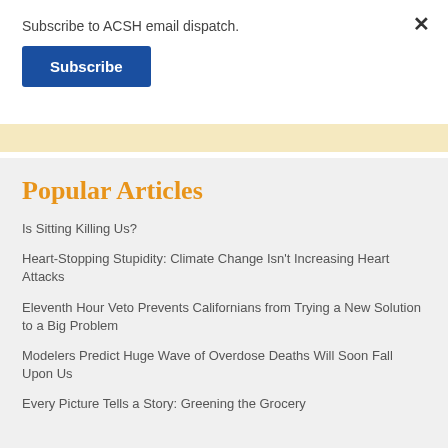Subscribe to ACSH email dispatch.
Subscribe
Popular Articles
Is Sitting Killing Us?
Heart-Stopping Stupidity: Climate Change Isn't Increasing Heart Attacks
Eleventh Hour Veto Prevents Californians from Trying a New Solution to a Big Problem
Modelers Predict Huge Wave of Overdose Deaths Will Soon Fall Upon Us
Every Picture Tells a Story: Greening the Grocery